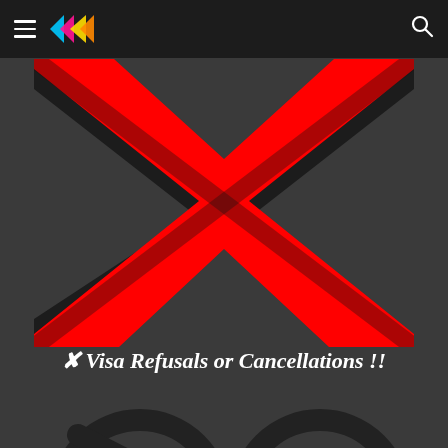navigation bar with hamburger menu, logo, and search icon
[Figure (illustration): Large red X mark on dark background, bold graphic symbol indicating refusal or cancellation]
✘ Visa Refusals or Cancellations !!
[Figure (illustration): Partial view of a dark circular no/cancel symbol at the bottom of the page]